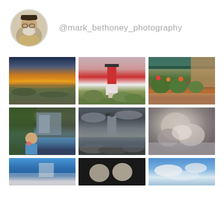[Figure (photo): Circular avatar photo of a bearded man with glasses and a hat]
@mark_bethoney_photography
[Figure (photo): Sunset over marshland with golden sky and water reflections]
[Figure (photo): Red and white lighthouse at dusk surrounded by green trees]
[Figure (photo): Flower shop storefront with green awning and colorful plants on brick sidewalk]
[Figure (photo): Man holding ice cream in front of a food stand with ivy-covered building]
[Figure (photo): Rocky lighthouse on stormy coast with dramatic grey clouds]
[Figure (photo): Close-up of a sleeping cat, grey and white fur]
[Figure (photo): Blue building exterior, partially cropped at bottom]
[Figure (photo): Portrait of two elderly people against dark background]
[Figure (photo): Sky with white clouds and blue sky]